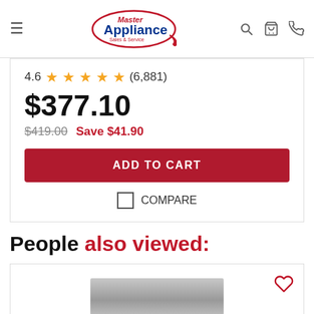[Figure (logo): Master Appliance Sales & Service logo — red oval outline, blue bold 'Appliance' text, red 'Master' script, red 'Sales & Service' text]
4.6 ★★★★★ (6,881)
$377.10
$419.00  Save $41.90
ADD TO CART
COMPARE
People also viewed:
[Figure (photo): Product thumbnail showing a stainless steel appliance with a heart/wishlist icon in the top right corner]